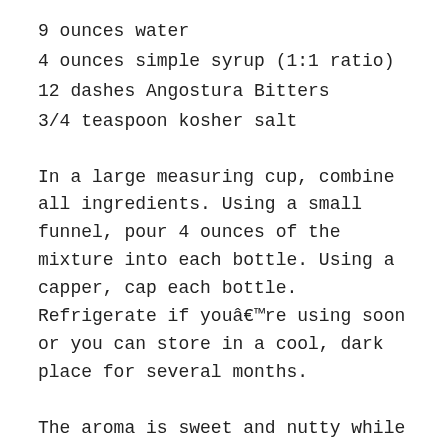9 ounces water
4 ounces simple syrup (1:1 ratio)
12 dashes Angostura Bitters
3/4 teaspoon kosher salt
In a large measuring cup, combine all ingredients. Using a small funnel, pour 4 ounces of the mixture into each bottle. Using a capper, cap each bottle. Refrigerate if youâre using soon or you can store in a cool, dark place for several months.
The aroma is sweet and nutty while the cocktail has a rich, savory flavor that is complimented by the addition of salt. Bottling this will not change the flavors too dramatically (yes, they will meld a bit together) as we are not barrel-aging, we're stopping the flavors in